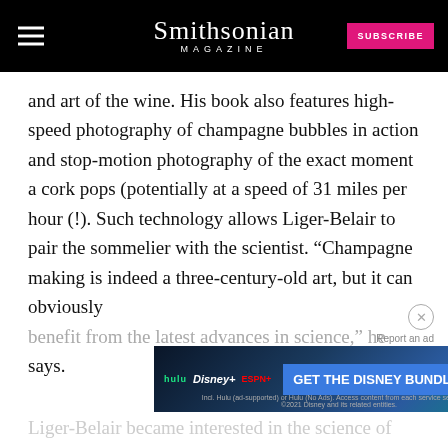Smithsonian Magazine | SUBSCRIBE
and art of the wine. His book also features high-speed photography of champagne bubbles in action and stop-motion photography of the exact moment a cork pops (potentially at a speed of 31 miles per hour (!). Such technology allows Liger-Belair to pair the sommelier with the scientist. “Champagne making is indeed a three-century-old art, but it can obviously benefit from the latest advances in science,” he says.
[Figure (other): Disney Bundle advertisement banner featuring Hulu, Disney+, and ESPN+ logos with a blue CTA button reading GET THE DISNEY BUNDLE]
Liger-Belair became interested in the science of